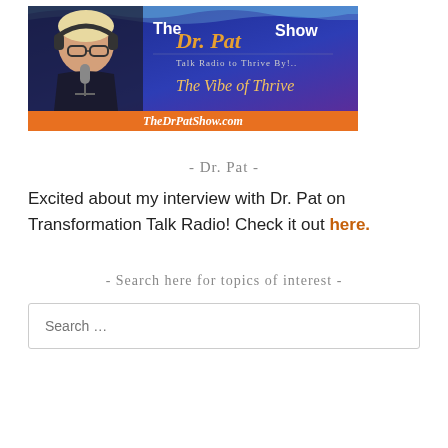[Figure (photo): The Dr. Pat Show banner image featuring a woman with headphones at a microphone, blue and purple background with text 'The Dr. Pat Show', 'Talk Radio to Thrive By!', 'The Vibe of Thrive', and an orange bar at the bottom reading 'TheDrPatShow.com']
- Dr. Pat -
Excited about my interview with Dr. Pat on Transformation Talk Radio! Check it out here.
- Search here for topics of interest -
Search …